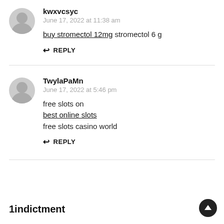kwxvcsyc
June 17, 2022 at 11:38 am
buy stromectol 12mg stromectol 6 g
REPLY
TwylaPaMn
June 17, 2022 at 5:46 pm
free slots on
best online slots
free slots casino world
REPLY
1indictment